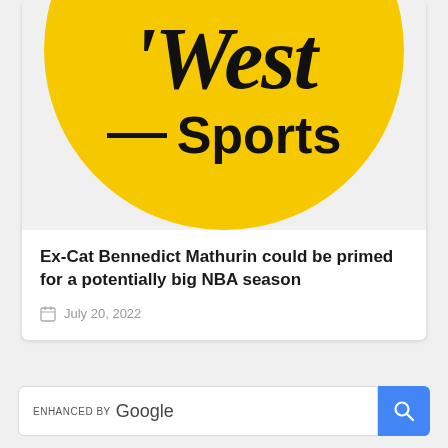[Figure (logo): West Sports logo — yellow circle with italic 'West' in large black serif font, a black horizontal dash, and 'Sports' in bold black sans-serif]
Ex-Cat Bennedict Mathurin could be primed for a potentially big NBA season
July 20, 2022
[Figure (screenshot): Google enhanced search bar with magnifying glass button]